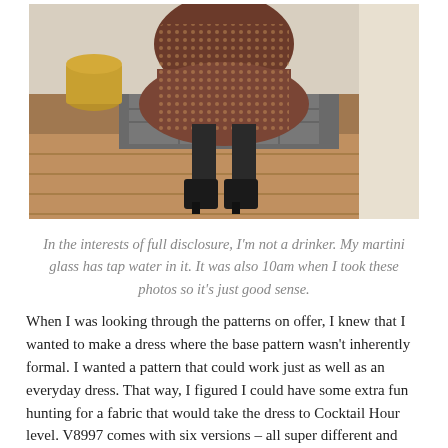[Figure (photo): A person wearing a sparkly/sequined dark dress with black tights and black heeled boots, standing in front of a fireplace on a wood floor. A brass bucket is visible to the left.]
In the interests of full disclosure, I'm not a drinker. My martini glass has tap water in it. It was also 10am when I took these photos so it's just good sense.
When I was looking through the patterns on offer, I knew that I wanted to make a dress where the base pattern wasn't inherently formal. I wanted a pattern that could work just as well as an everyday dress. That way, I figured I could have some extra fun hunting for a fabric that would take the dress to Cocktail Hour level. V8997 comes with six versions – all super different and perfectly suitable for a variety of